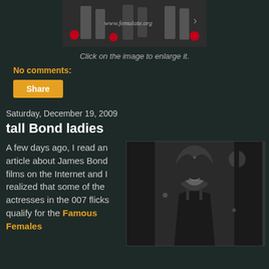[Figure (photo): Cropped photo showing legs and feet of models with red ornaments, website watermark www.femulate.org visible]
Click on the image to enlarge it.
No comments:
Share
Saturday, December 19, 2009
tall Bond ladies
A few days ago, I read an article about James Bond films on the Internet and I realized that some of the actresses in the 007 flicks qualify for the Famous Females
[Figure (photo): Black and white photo of a woman in a black dress smiling, standing in a doorway]